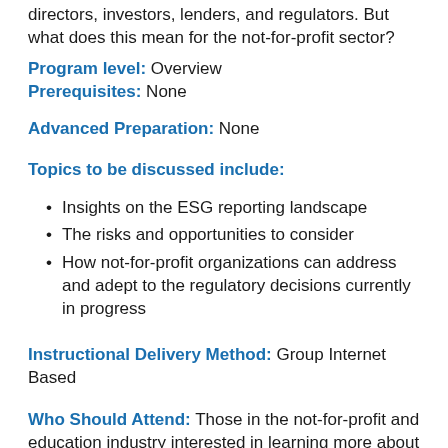directors, investors, lenders, and regulators. But what does this mean for the not-for-profit sector?
Program level: Overview
Prerequisites: None
Advanced Preparation: None
Topics to be discussed include:
Insights on the ESG reporting landscape
The risks and opportunities to consider
How not-for-profit organizations can address and adept to the regulatory decisions currently in progress
Instructional Delivery Method: Group Internet Based
Who Should Attend: Those in the not-for-profit and education industry interested in learning more about how they can begin adopting or enhancing ESG reporting to meet their stakeholders' needs.